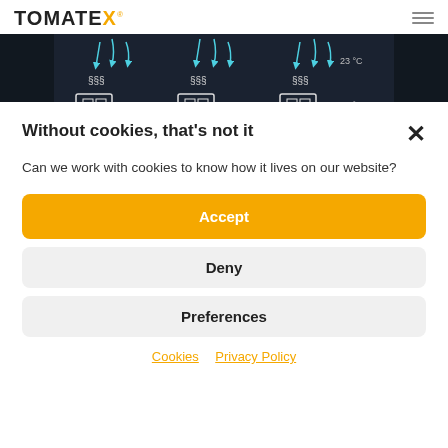TOMATEX®
[Figure (illustration): Dark background engineering/industrial illustration showing machines with heat symbols (§§§) and temperature labels (23°C, 27°C) with blue arrows indicating airflow or cooling]
Without cookies, that's not it
Can we work with cookies to know how it lives on our website?
Accept
Deny
Preferences
Cookies  Privacy Policy